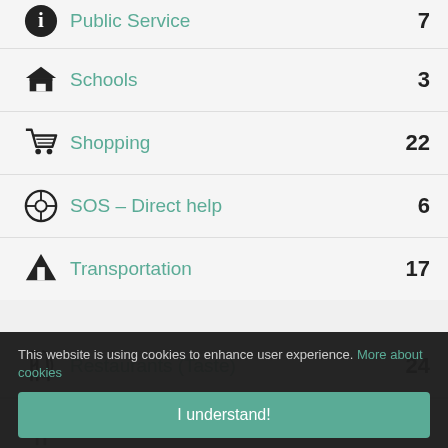Public Service  7
Schools  3
Shopping  22
SOS – Direct help  6
Transportation  17
Restaurants (Taste)  24
2 Bistros  10
3 Cafe Bars  6
This website is using cookies to enhance user experience. More about cookies
I understand!